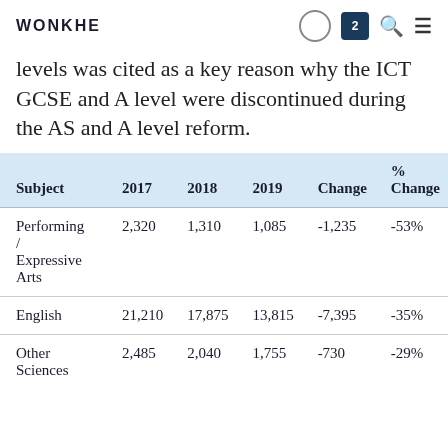WONKHE
levels was cited as a key reason why the ICT GCSE and A level were discontinued during the AS and A level reform.
| Subject | 2017 | 2018 | 2019 | Change | % Change |
| --- | --- | --- | --- | --- | --- |
| Performing / Expressive Arts | 2,320 | 1,310 | 1,085 | -1,235 | -53% |
| English | 21,210 | 17,875 | 13,815 | -7,395 | -35% |
| Other Sciences | 2,485 | 2,040 | 1,755 | -730 | -29% |